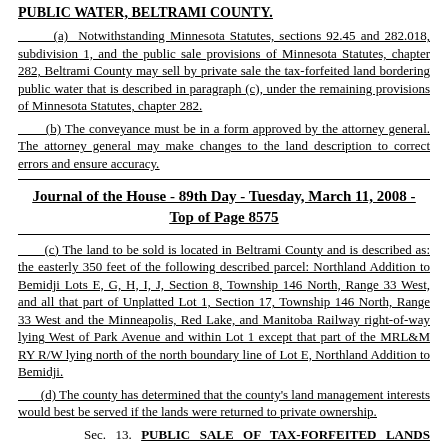PUBLIC WATER, BELTRAMI COUNTY.
(a) Notwithstanding Minnesota Statutes, sections 92.45 and 282.018, subdivision 1, and the public sale provisions of Minnesota Statutes, chapter 282, Beltrami County may sell by private sale the tax-forfeited land bordering public water that is described in paragraph (c), under the remaining provisions of Minnesota Statutes, chapter 282.
(b) The conveyance must be in a form approved by the attorney general. The attorney general may make changes to the land description to correct errors and ensure accuracy.
Journal of the House - 89th Day - Tuesday, March 11, 2008 - Top of Page 8575
(c) The land to be sold is located in Beltrami County and is described as: the easterly 350 feet of the following described parcel: Northland Addition to Bemidji Lots E, G, H, I, J, Section 8, Township 146 North, Range 33 West, and all that part of Unplatted Lot 1, Section 17, Township 146 North, Range 33 West and the Minneapolis, Red Lake, and Manitoba Railway right-of-way lying West of Park Avenue and within Lot 1 except that part of the MRL&M RY R/W lying north of the north boundary line of Lot E, Northland Addition to Bemidji.
(d) The county has determined that the county's land management interests would best be served if the lands were returned to private ownership.
Sec. 13. PUBLIC SALE OF TAX-FORFEITED LANDS BORDERING PUBLIC WATER, CARLTON COUNTY.